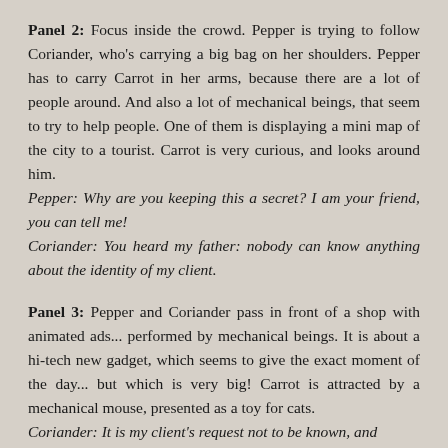Panel 2: Focus inside the crowd. Pepper is trying to follow Coriander, who's carrying a big bag on her shoulders. Pepper has to carry Carrot in her arms, because there are a lot of people around. And also a lot of mechanical beings, that seem to try to help people. One of them is displaying a mini map of the city to a tourist. Carrot is very curious, and looks around him.
Pepper: Why are you keeping this a secret? I am your friend, you can tell me!
Coriander: You heard my father: nobody can know anything about the identity of my client.
Panel 3: Pepper and Coriander pass in front of a shop with animated ads... performed by mechanical beings. It is about a hi-tech new gadget, which seems to give the exact moment of the day... but which is very big! Carrot is attracted by a mechanical mouse, presented as a toy for cats.
Coriander: It is my client's request not to be known, and